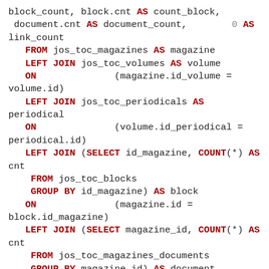block_count, block.cnt AS count_block, document.cnt AS document_count, 0 AS link_count FROM jos_toc_magazines AS magazine LEFT JOIN jos_toc_volumes AS volume ON (magazine.id_volume = volume.id) LEFT JOIN jos_toc_periodicals AS periodical ON (volume.id_periodical = periodical.id) LEFT JOIN (SELECT id_magazine, COUNT(*) AS cnt FROM jos_toc_blocks GROUP BY id_magazine) AS block ON (magazine.id = block.id_magazine) LEFT JOIN (SELECT magazine_id, COUNT(*) AS cnt FROM jos_toc_magazines_documents GROUP BY magazine_id) AS document ON (magazine.id = document.magazine_id) LEFT JOIN (SELECT magazine_id, COUNT(*) AS